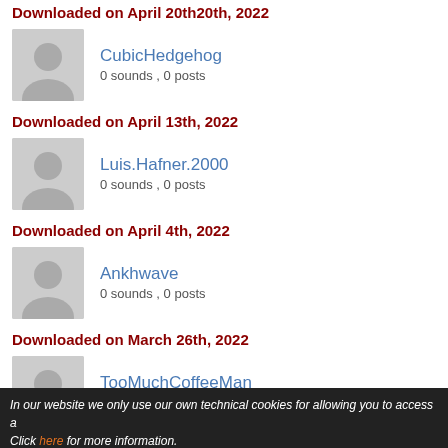Downloaded on April 20th, 2022
CubicHedgehog — 0 sounds , 0 posts
Downloaded on April 13th, 2022
Luis.Hafner.2000 — 0 sounds , 0 posts
Downloaded on April 4th, 2022
Ankhwave — 0 sounds , 0 posts
Downloaded on March 26th, 2022
TooMuchCoffeeMan — 0 sounds , 0 posts
Downloaded on March 25th, 2022
jamstern — 0 sounds , 0 posts
In our website we only use our own technical cookies for allowing you to access a... Click here for more information.